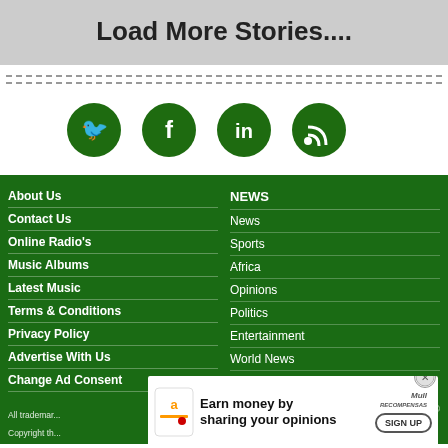Load More Stories....
[Figure (other): Social media icons: Twitter, Facebook, LinkedIn, RSS feed - dark green circles]
About Us
Contact Us
Online Radio's
Music Albums
Latest Music
Terms & Conditions
Privacy Policy
Advertise With Us
Change Ad Consent
NEWS
News
Sports
Africa
Opinions
Politics
Entertainment
World News
All trademarks ... 05-2022, © Copyright th...
[Figure (infographic): Advertisement banner: Earn money by sharing your opinions - Amazon/MindReconpensas with SIGN UP button]